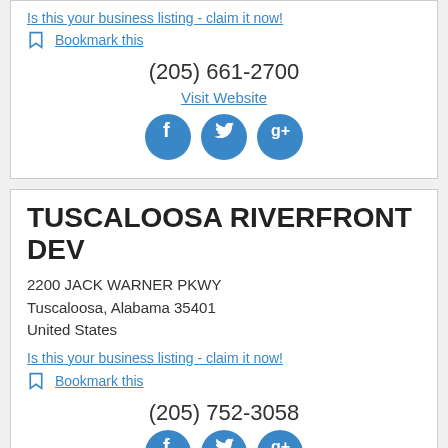Is this your business listing - claim it now!
Bookmark this
(205) 661-2700
Visit Website
[Figure (other): Social media icons: Facebook, Twitter, Google+]
TUSCALOOSA RIVERFRONT DEV
2200 JACK WARNER PKWY
Tuscaloosa, Alabama 35401
United States
Is this your business listing - claim it now!
Bookmark this
(205) 752-3058
[Figure (other): Social media icons: Facebook, Twitter, Google+]